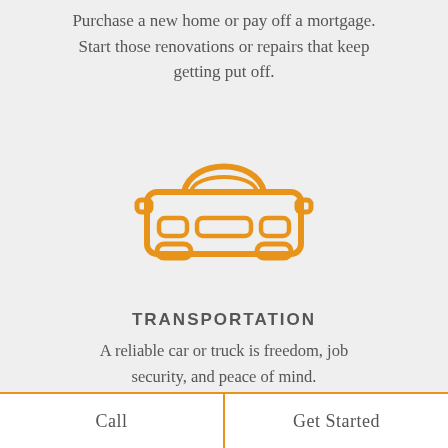Purchase a new home or pay off a mortgage. Start those renovations or repairs that keep getting put off.
[Figure (illustration): Orange outline icon of a car (front view) on a light gray background]
TRANSPORTATION
A reliable car or truck is freedom, job security, and peace of mind.
[Figure (illustration): Partial orange outline icon of a money bag or cash icon at the bottom of the page]
Call
Get Started